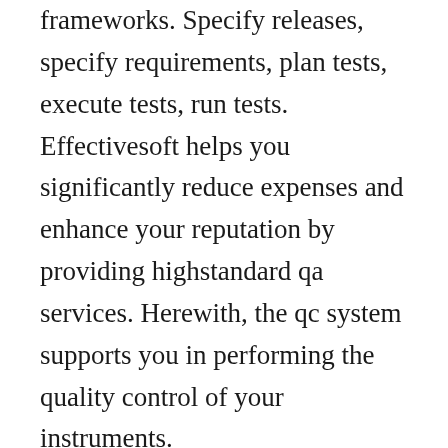frameworks. Specify releases, specify requirements, plan tests, execute tests, run tests. Effectivesoft helps you significantly reduce expenses and enhance your reputation by providing highstandard qa services. Herewith, the qc system supports you in performing the quality control of your instruments.
This is marvellous as in a true agile implementation all the work yes. But automation jobs never be a replacement for manual testing roles. Recovery testing is the